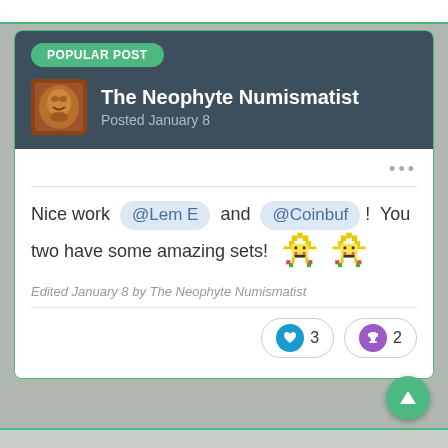POPULAR POST
The Neophyte Numismatist
Posted January 8
Nice work @Lem E and @Coinbuf ! You two have some amazing sets!
Edited January 8 by The Neophyte Numismatist